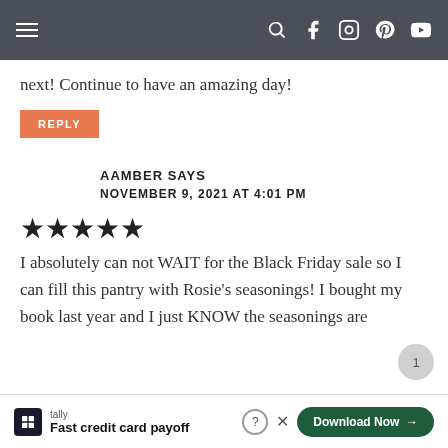Navigation bar with hamburger menu and social icons
next! Continue to have an amazing day!
REPLY
AAMBER SAYS
NOVEMBER 9, 2021 AT 4:01 PM
★★★★★
I absolutely can not WAIT for the Black Friday sale so I can fill this pantry with Rosie's seasonings! I bought my book last year and I just KNOW the seasonings are
Tally — Fast credit card payoff — Download Now →